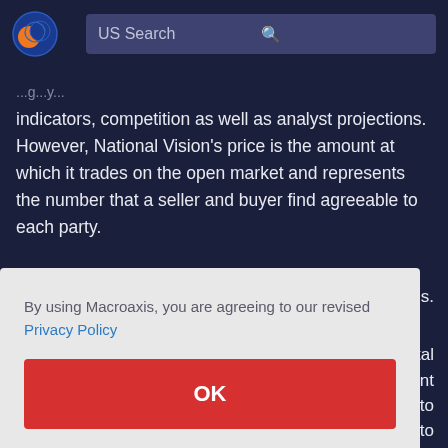[Figure (logo): Macroaxis globe logo with orange and blue colors]
US Search
indicators, competition as well as analyst projections. However, National Vision's price is the amount at which it trades on the open market and represents the number that a seller and buyer find agreeable to each party.
By using Macroaxis, you are agreeing to our revised Privacy Policy
OK
determine the firm's financial worth